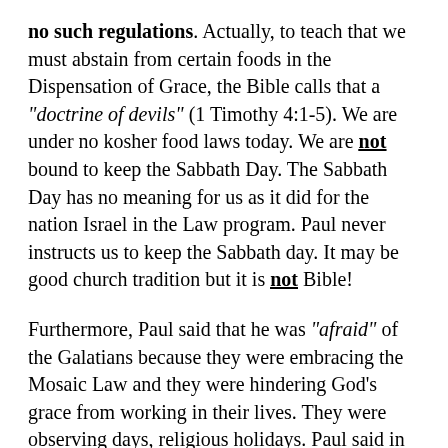no such regulations. Actually, to teach that we must abstain from certain foods in the Dispensation of Grace, the Bible calls that a "doctrine of devils" (1 Timothy 4:1-5). We are under no kosher food laws today. We are not bound to keep the Sabbath Day. The Sabbath Day has no meaning for us as it did for the nation Israel in the Law program. Paul never instructs us to keep the Sabbath day. It may be good church tradition but it is not Bible!
Furthermore, Paul said that he was "afraid" of the Galatians because they were embracing the Mosaic Law and they were hindering God's grace from working in their lives. They were observing days, religious holidays. Paul said in Colossians chapter 2 that Satan would use various tactics to cause us to forget our identity in Christ. We read about the traditions of man, vain deceit, philosophy, the rudiments of the world, holydays, new moons,